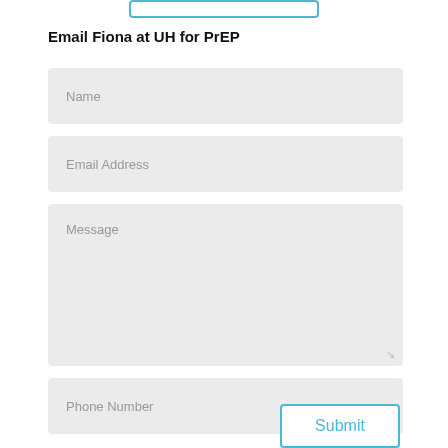[Figure (screenshot): Partial blue-bordered button visible at top of page]
Email Fiona at UH for PrEP
Name
Email Address
Message
Phone Number
Submit